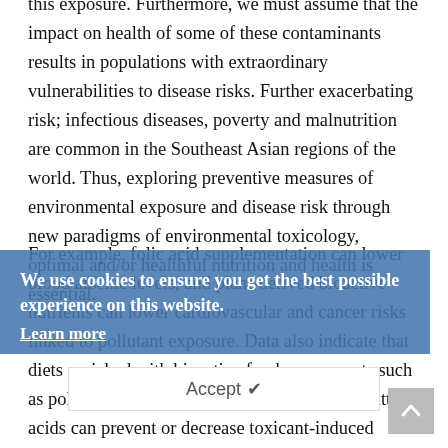this exposure. Furthermore, we must assume that the impact on health of some of these contaminants results in populations with extraordinary vulnerabilities to disease risks. Further exacerbating risk; infectious diseases, poverty and malnutrition are common in the Southeast Asian regions of the world. Thus, exploring preventive measures of environmental exposure and disease risk through new paradigms of environmental toxicology, optimal and/or healthful nutrition and health is essential.
For example, folic acid supplementation can lower blood arsenic levels, and plant-derived bioactive nutrients can lower cardiovascular and cancer risks linked to pollutant exposure. Data also indicate that diets enriched with bioactive food components such as polyphenols and omega-3 polyunsaturated fatty acids can prevent or decrease toxicant-induced inflammation. Thus, consuming healthy diets that exhibit high levels of antioxidant and anti-inflammatory properties, is a meaningful way to reduce the vulnerability to non-communicable diseases linked to environmental toxic
We use cookies to ensure you get the best possible experience on this website. Learn more
Accept